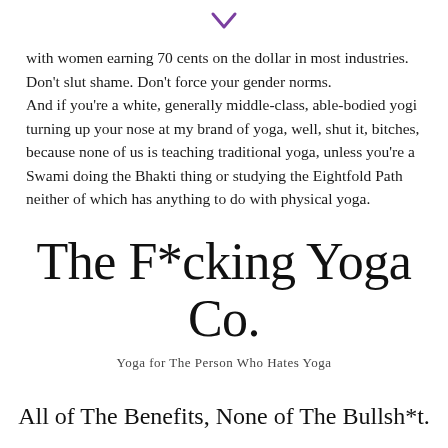[Figure (other): Small purple downward chevron/arrow icon centered at top of page]
with women earning 70 cents on the dollar in most industries. Don't slut shame. Don't force your gender norms. And if you're a white, generally middle-class, able-bodied yogi turning up your nose at my brand of yoga, well, shut it, bitches, because none of us is teaching traditional yoga, unless you're a Swami doing the Bhakti thing or studying the Eightfold Path neither of which has anything to do with physical yoga.
The F*cking Yoga Co.
Yoga for The Person Who Hates Yoga
All of The Benefits, None of The Bullsh*t.